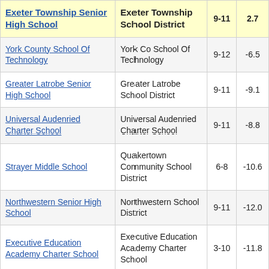| School | District | Grades | Value |
| --- | --- | --- | --- |
| Exeter Township Senior High School | Exeter Township School District | 9-11 | 2.7 |
| York County School Of Technology | York Co School Of Technology | 9-12 | -6.5 |
| Greater Latrobe Senior High School | Greater Latrobe School District | 9-11 | -9.1 |
| Universal Audenried Charter School | Universal Audenried Charter School | 9-11 | -8.8 |
| Strayer Middle School | Quakertown Community School District | 6-8 | -10.6 |
| Northwestern Senior High School | Northwestern School District | 9-11 | -12.0 |
| Executive Education Academy Charter School | Executive Education Academy Charter School | 3-10 | -11.8 |